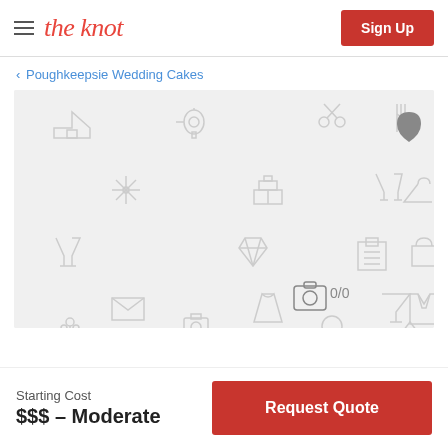the knot | Sign Up
< Poughkeepsie Wedding Cakes
[Figure (screenshot): Gray placeholder image area with light wedding-related icons (house, mixer, scissors, utensils, heart, snowflake, cake, champagne glasses, hanger, champagne flutes, diamond ring, clipboard, bag, envelope, dress, cocktail, suit, camera showing 0/0 photo count)]
Starting Cost
$$$ – Moderate
Request Quote